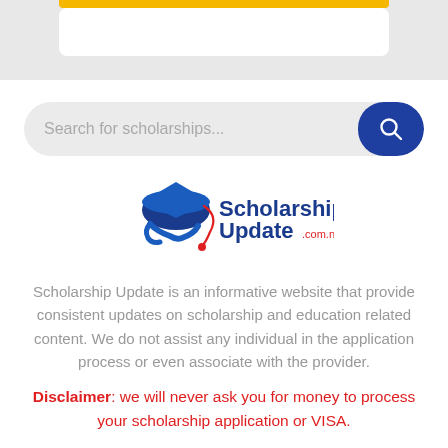[Figure (screenshot): Top gray bar with a yellow/gold horizontal banner element and white card area below]
Search for scholarships...
[Figure (logo): ScholarshipUpdate.com.ng logo — blue graduation cap with red tassel and blue/red text]
Scholarship Update is an informative website that provide consistent updates on scholarship and education related content. We do not assist any individual in the application process or even associate with the provider.
Disclaimer: we will never ask you for money to process your scholarship application or VISA.